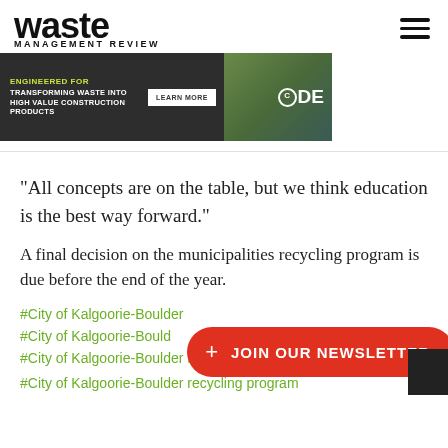waste MANAGEMENT REVIEW
[Figure (infographic): CDE advertisement banner: dark background with text 'ENGINEERED FOR TRANSFORMING WASTE INTO HIGH VALUE CONSTRUCTION PRODUCTS', a LEARN MORE button, a worker in high-vis vest, and the CDE logo]
“All concepts are on the table, but we think education is the best way forward.”
A final decision on the municipalities recycling program is due before the end of the year.
#City of Kalgoorie-Boulder
#City of Kalgoorie-Boulder Mayor John Walker
#City of Kalgoorie-Boulder recycling program